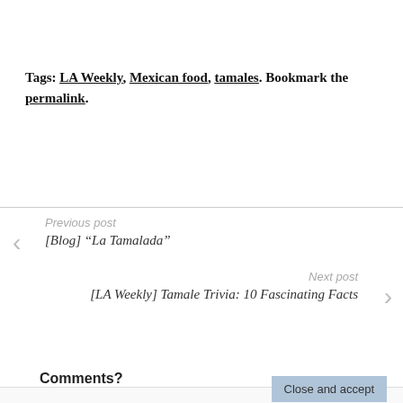Tags: LA Weekly, Mexican food, tamales. Bookmark the permalink.
Previous post
[Blog] “La Tamalada”
Next post
[LA Weekly] Tamale Trivia: 10 Fascinating Facts
Comments?
Privacy & Cookies: This site uses cookies. By continuing to use this website, you agree to their use.
To find out more, including how to control cookies, see here: Cookie Policy
Close and accept